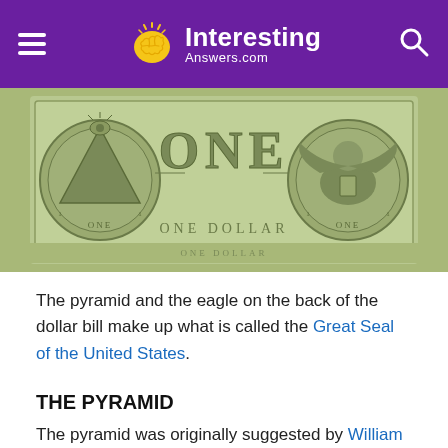Interesting Answers.com
[Figure (photo): Close-up photo of the back of a US one dollar bill showing the Great Seal with pyramid on the left and eagle on the right, with 'ONE' in large letters in the center and 'ONE DOLLAR' text below.]
The pyramid and the eagle on the back of the dollar bill make up what is called the Great Seal of the United States.
THE PYRAMID
The pyramid was originally suggested by William Barton, an artist on the third Great Seal committee in 1782. He suggested, "A Pyramid of thirteen Strata, (or Steps)", representing the original 13 states. For the final design of